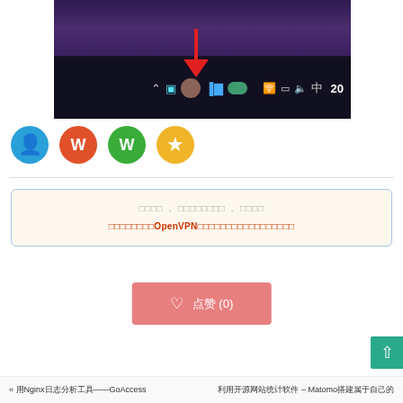[Figure (screenshot): Windows taskbar system tray screenshot showing icons including network monitor, user avatar, OneDrive, speakers, WiFi, display, volume, Chinese IME indicator, and time '20'. A red arrow points to one of the tray icons.]
[Figure (infographic): Four colorful social sharing icon circles: blue (notification/bell), orange (Weibo), green (WeChat), yellow (star/favorite)]
若非如此，请勿相信，敬请自行验证，切勿轻信
可以在评论区告诉我用的是什么OpenVPN客户端及客户端版本及所用系统
[Figure (other): Pink like/heart button with heart icon and text '点赞 (0)']
« 用Nginx日志分析工具——GoAccess    利用开源网站统计软件 – Matomo搭建属于自己的